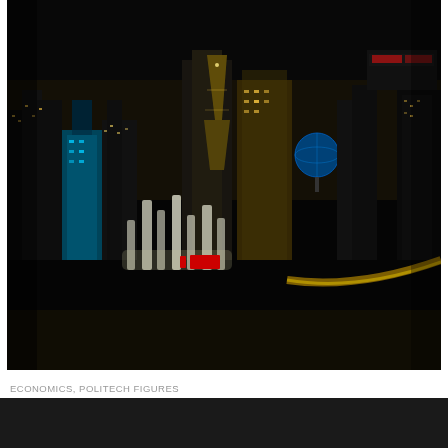[Figure (photo): Aerial night view of Las Vegas Strip showing illuminated hotels and casinos including Planet Hollywood, fountains in foreground, Eiffel Tower replica visible in background]
ECONOMICS, POLITECH FIGURES
Leaders in business and government to convene at Horasis China Meeting to discuss trade, investment relations
OCTOBER 20, 2018, 3:21 PM  🔥 1130